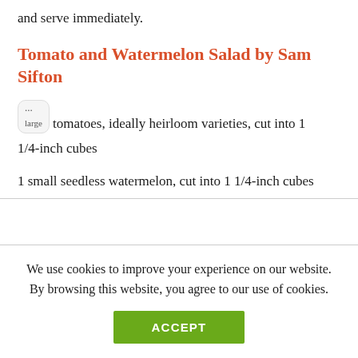and serve immediately.
Tomato and Watermelon Salad by Sam Sifton
large tomatoes, ideally heirloom varieties, cut into 1 1/4-inch cubes
1 small seedless watermelon, cut into 1 1/4-inch cubes
We use cookies to improve your experience on our website. By browsing this website, you agree to our use of cookies.
ACCEPT